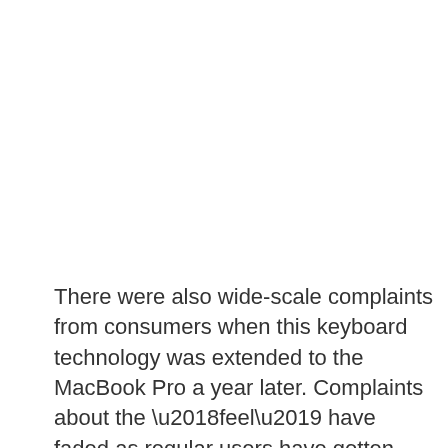There were also wide-scale complaints from consumers when this keyboard technology was extended to the MacBook Pro a year later. Complaints about the ‘feel’ have faded as regular users have gotten used to the short key travel, but these have been replaced by issues with small amounts of debris rendering keys immovable.